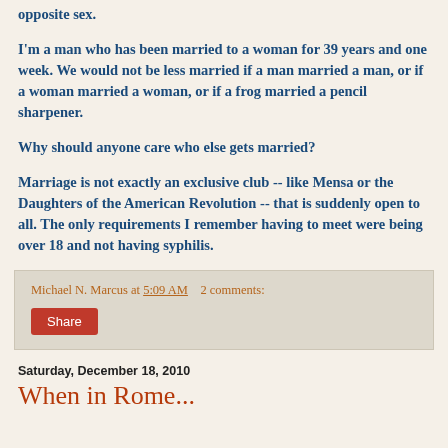opposite sex.
I'm a man who has been married to a woman for 39 years and one week. We would not be less married if a man married a man, or if a woman married a woman, or if a frog married a pencil sharpener.
Why should anyone care who else gets married?
Marriage is not exactly an exclusive club -- like Mensa or the Daughters of the American Revolution -- that is suddenly open to all. The only requirements I remember having to meet were being over 18 and not having syphilis.
Michael N. Marcus at 5:09 AM    2 comments:
Saturday, December 18, 2010
When in Rome...